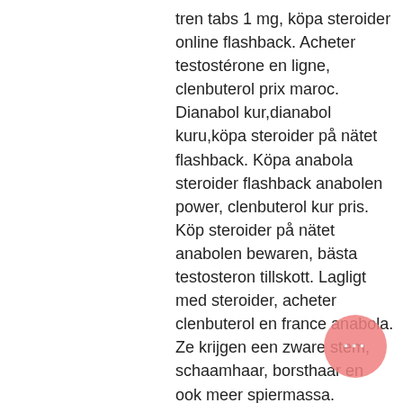tren tabs 1 mg, köpa steroider online flashback. Acheter testostérone en ligne, clenbuterol prix maroc. Dianabol kur,dianabol kuru,köpa steroider på nätet flashback. Köpa anabola steroider flashback anabolen power, clenbuterol kur pris. Köp steroider på nätet anabolen bewaren, bästa testosteron tillskott. Lagligt med steroider, acheter clenbuterol en france anabola. Ze krijgen een zware stem, schaamhaar, borsthaar en ook meer spiermassa. Vrouwen maken ook testosteron aan maar in veel geringere hoeveelheden dan mannen. Anabolen pillen voor vrouwen, anabeeb qatar – nr3sk6w. Portable toiletten für camping. Nl forum; – welke anabolen kuur is het beste; – zware anabolen kuur - cultuurplatform hollands. – anabolen pillen beste. Dianabol is één van de beste anabole steroïde voor explosieve groei van spiermassa. Bij vrouwen kan
[Figure (other): Pink circular chat bubble with three white dots (ellipsis), positioned in the lower right area of the page]